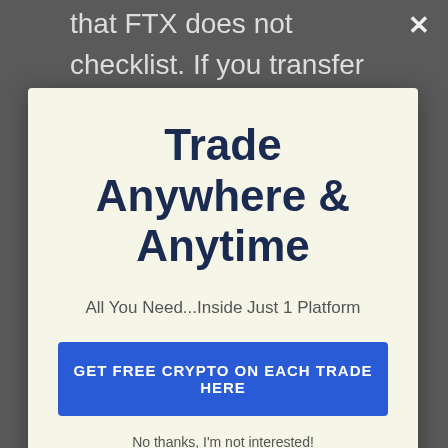that FTX does not checklist. If you transfer a coin that FTX does not sustain, even if it is on a chain that FTX does support, we may not be able to recuperate the coin as well as may not support
[Figure (infographic): Modal popup advertisement overlay with light yellow background. Title: 'Trade Anywhere & Anytime'. Subtitle: 'All You Need...Inside Just 1 Platform'. Blue CTA button: 'GET FREE CRYPTO ON EACH TRADE HERE'. Link: 'No thanks, I'm not interested!']
skilled investors. They have really done a great task developing a system for sophisticated trading, with such a selection of financial investment markets such as futures, forex